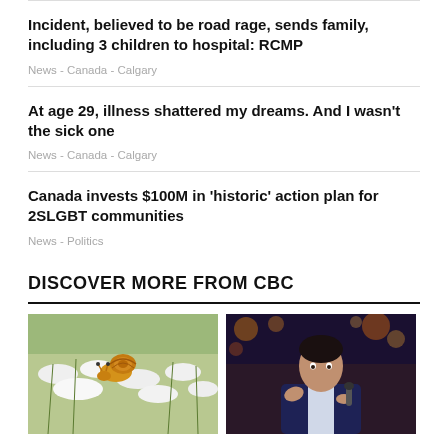Incident, believed to be road rage, sends family, including 3 children to hospital: RCMP
News  -  Canada  -  Calgary
At age 29, illness shattered my dreams. And I wasn't the sick one
News  -  Canada  -  Calgary
Canada invests $100M in 'historic' action plan for 2SLGBT communities
News  -  Politics
DISCOVER MORE FROM CBC
[Figure (photo): A yellow/orange snail on white wildflowers and foliage]
[Figure (photo): A man in a dark suit holding a microphone, speaking on stage with bokeh lights in the background]